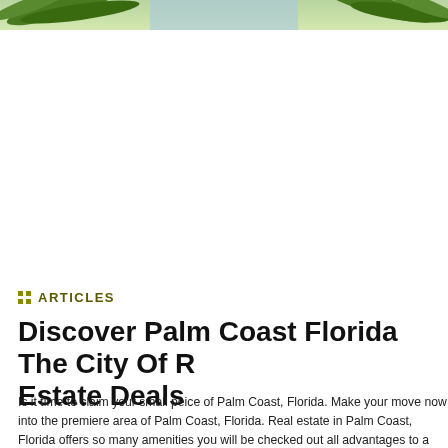[Figure (photo): Green tropical foliage/palm fronds banner image at the top of the page]
ARTICLES
Discover Palm Coast Florida The City Of R... Estate Deals
Is it time to claim your small peice of Palm Coast, Florida. Make your move now into the premiere area of Palm Coast, Florida. Real estate in Palm Coast, Florida offers so many amenities you will be checked out all advantages to a relaxing upscale lifestyle only found in the exclusive real estate in Florida of Florida. Have you ever wondered what exactly is up with real estate in Palm Coast, Flori...